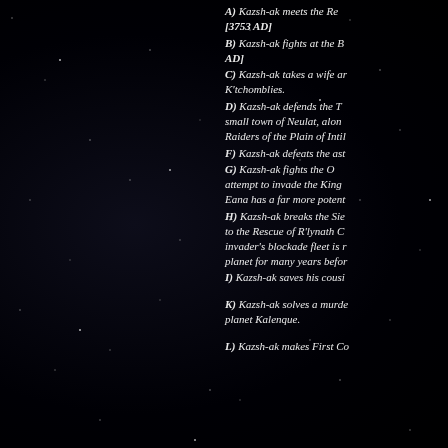A) Kazsh-ak meets the Re [3753 AD]
B) Kazsh-ak fights at the B AD]
C) Kazsh-ak takes a wife ar K'tchomblies.
D) Kazsh-ak defends the T small town of Neulat, alon Raiders of the Plain of Intil
F) Kazsh-ak defeats the ast
G) Kazsh-ak fights the O attempt to invade the King Eana has a far more potent
H) Kazsh-ak breaks the Sie to the Rescue of R'lynath C invader's blockade fleet is r planet for many years befor
I) Kazsh-ak saves his cousi
K) Kazsh-ak solves a murde planet Kalenque.
L) Kazsh-ak makes First Co